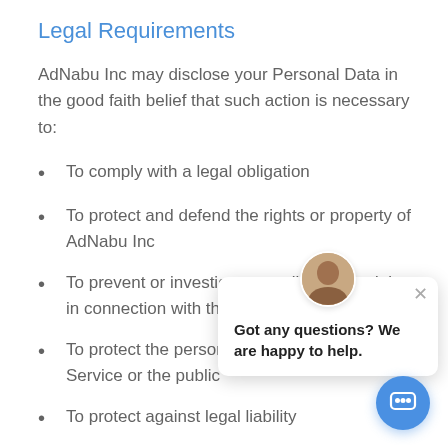Legal Requirements
AdNabu Inc may disclose your Personal Data in the good faith belief that such action is necessary to:
To comply with a legal obligation
To protect and defend the rights or property of AdNabu Inc
To prevent or investigate possible wrongdoing in connection with the Service
To protect the personal safety of users of the Service or the public
To protect against legal liability